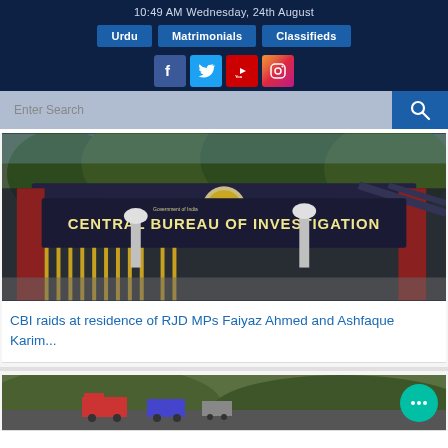10:49 AM Wednesday, 24th August
Urdu | Matrimonials | Classifieds
[Figure (screenshot): Social media icons: Facebook, Twitter, YouTube, Instagram]
Enter Search
[Figure (photo): Photo of Central Bureau of Investigation gate/entrance sign]
CBI raids at residence of RJD MPs Faiyaz Ahmed and Ashfaque Karim...
[Figure (photo): Second article image showing trucks on a road/hillside]